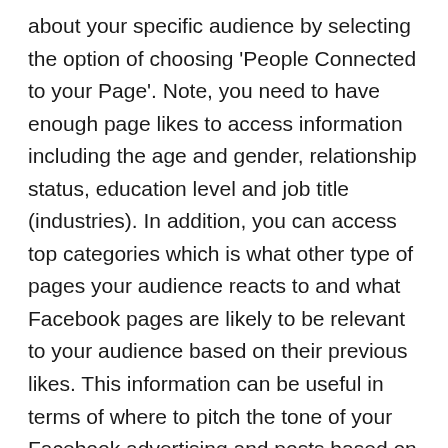about your specific audience by selecting the option of choosing 'People Connected to your Page'. Note, you need to have enough page likes to access information including the age and gender, relationship status, education level and job title (industries). In addition, you can access top categories which is what other type of pages your audience reacts to and what Facebook pages are likely to be relevant to your audience based on their previous likes. This information can be useful in terms of where to pitch the tone of your Facebook advertising and posts based on their industry or job title.
These insights can be used to craft very specific advertising messages based on location, interests, gender, job title, the device they use to browse with and just about